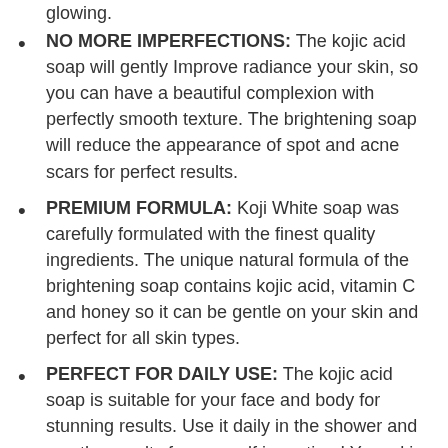glowing.
NO MORE IMPERFECTIONS: The kojic acid soap will gently Improve radiance your skin, so you can have a beautiful complexion with perfectly smooth texture. The brightening soap will reduce the appearance of spot and acne scars for perfect results.
PREMIUM FORMULA: Koji White soap was carefully formulated with the finest quality ingredients. The unique natural formula of the brightening soap contains kojic acid, vitamin C and honey so it can be gentle on your skin and perfect for all skin types.
PERFECT FOR DAILY USE: The kojic acid soap is suitable for your face and body for stunning results. Use it daily in the shower and see the results for yourself in no time! Your skin will soon be healthy, soft, bright and beautiful!